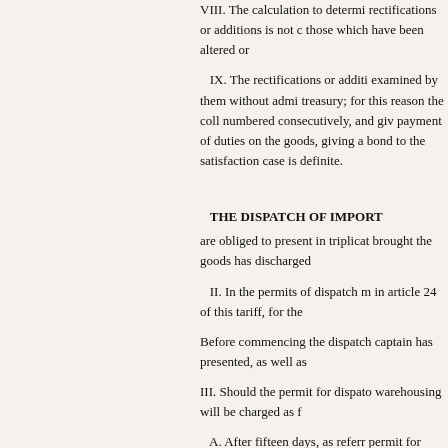VIII. The calculation to determine rectifications or additions is not complete, those which have been altered or...
IX. The rectifications or additions examined by them without admitting treasury; for this reason the colle numbered consecutively, and giv payment of duties on the goods, giving a bond to the satisfaction case is definite.
THE DISPATCH OF IMPORT
are obliged to present in triplicate brought the goods has discharged
II. In the permits of dispatch m in article 24 of this tariff, for the
Before commencing the dispatch captain has presented, as well as
III. Should the permit for dispatch warehousing will be charged as f
A. After fifteen days, as referred permit for dispatch, the mercha...